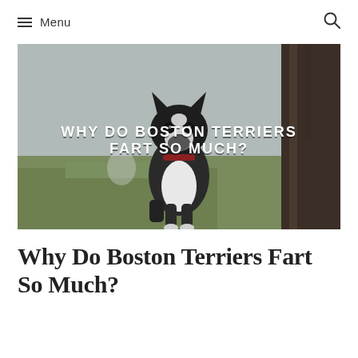Menu
[Figure (photo): A black and white Boston Terrier puppy standing outdoors near a tree trunk with grass in the background. Overlaid text reads: WHY DO BOSTON TERRIERS FART SO MUCH?]
Why Do Boston Terriers Fart So Much?